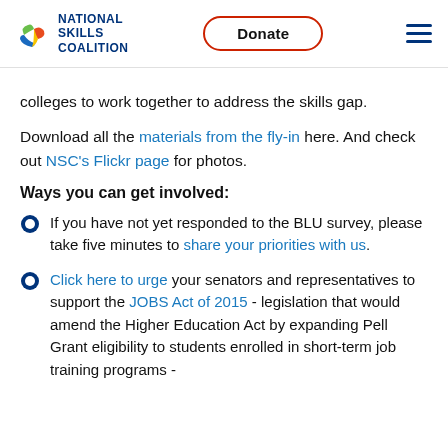NATIONAL SKILLS COALITION | Donate
colleges to work together to address the skills gap.
Download all the materials from the fly-in here. And check out NSC's Flickr page for photos.
Ways you can get involved:
If you have not yet responded to the BLU survey, please take five minutes to share your priorities with us.
Click here to urge your senators and representatives to support the JOBS Act of 2015 - legislation that would amend the Higher Education Act by expanding Pell Grant eligibility to students enrolled in short-term job training programs -